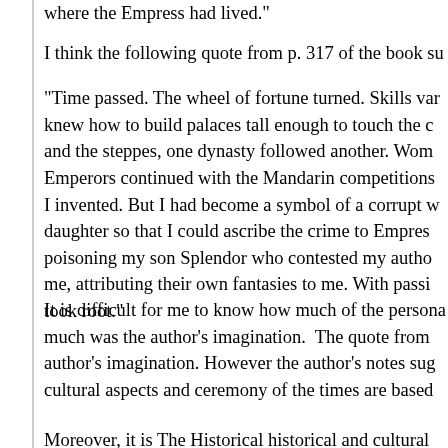where the Empress had lived."
I think the following quote from p. 317 of the book su
"Time passed. The wheel of fortune turned. Skills var knew how to build palaces tall enough to touch the c and the steppes, one dynasty followed another. Wom Emperors continued with the Mandarin competitions I invented. But I had become a symbol of a corrupt w daughter so that I could ascribe the crime to Empres poisoning my son Splendor who contested my autho me, attributing their own fantasies to me. With passi took root."
It is difficult for me to know how much of the persona much was the author's imagination.  The quote from author's imagination. However the author's notes sug cultural aspects and ceremony of the times are based
Moreover, it is The Historical historical and cultural